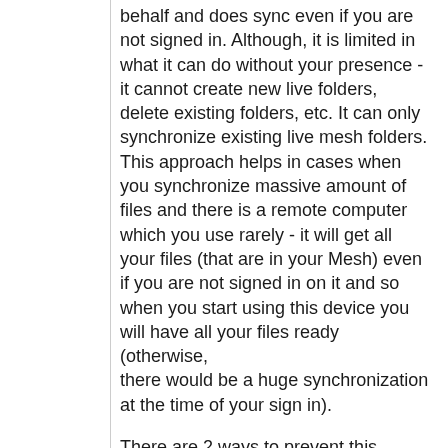behalf and does sync even if you are not signed in. Although, it is limited in what it can do without your presence - it cannot create new live folders, delete existing folders, etc. It can only synchronize existing live mesh folders. This approach helps in cases when you synchronize massive amount of files and there is a remote computer which you use rarely - it will get all your files (that are in your Mesh) even if you are not signed in on it and so when you start using this device you will have all your files ready (otherwise, there would be a huge synchronization at the time of your sign in).
There are 2 ways to prevent this background sync: 1) switch to offline mode; 2) remove your device from the device ring in Live Mesh Desktop.
As people noted there are 2 potential security threats that can arise from the present implementation: 1) someone steals your device and 2) viruses/trojans can spread easier